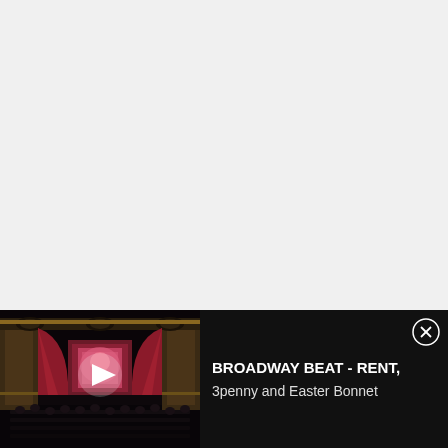[Figure (screenshot): White/light gray blank area occupying the top portion of the page]
[Figure (screenshot): Video player thumbnail showing a theater stage with red curtains, dark audience seating, ornate gold balcony decorations, and a play button overlay]
BROADWAY BEAT - RENT, 3penny and Easter Bonnet